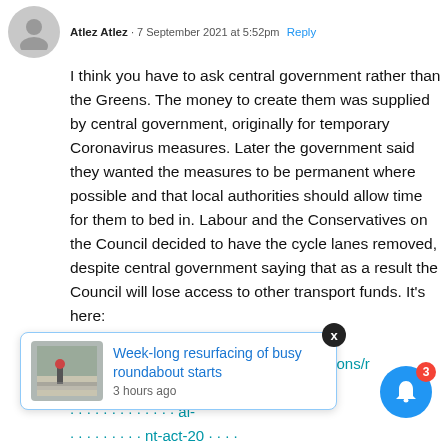Atlez Atlez · 7 September 2021 at 5:52pm · Reply
I think you have to ask central government rather than the Greens. The money to create them was supplied by central government, originally for temporary Coronavirus measures. Later the government said they wanted the measures to be permanent where possible and that local authorities should allow time for them to bed in. Labour and the Conservatives on the Council decided to have the cycle lanes removed, despite central government saying that as a result the Council will lose access to other transport funds. It's here:
https://www.gov.uk/government/publications/realignment-response-to-covid-local-network-management-act-2000-network-management-in-response-to-covid-19
[Figure (screenshot): Notification popup showing 'Week-long resurfacing of busy roundabout starts' with timestamp '3 hours ago' and a road image thumbnail. A close button (X) and bell notification icon with badge showing '3' are also visible.]